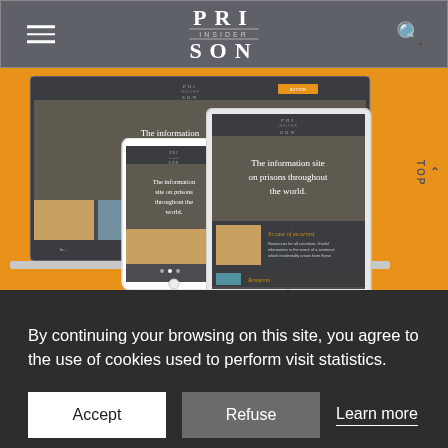PRI INSIDER SON
[Figure (screenshot): Screenshot mockup of Prison Insider website shown on laptop, phone, and tablet devices against an orange background. The website shows 'The information site on prisons throughout the world.' tagline.]
By continuing your browsing on this site, you agree to the use of cookies used to perform visit statistics.
Accept   Refuse   Learn more